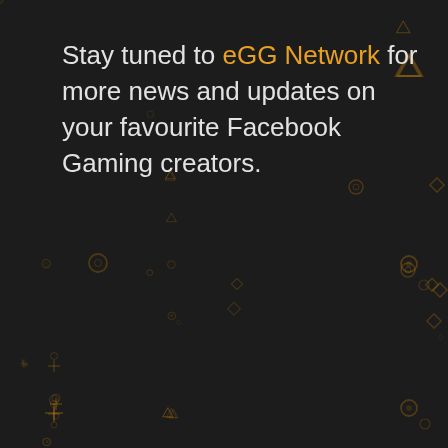Stay tuned to eGG Network for more news and updates on your favourite Facebook Gaming creators.
[Figure (illustration): Dark background with scattered faint golden gaming controller button icons (triangles, circles, squares, cross/d-pad shapes) decorating the page]